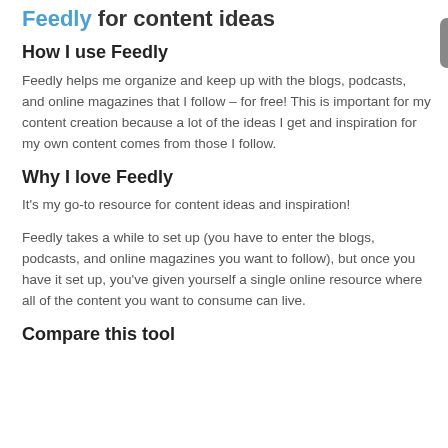Feedly for content ideas
How I use Feedly
Feedly helps me organize and keep up with the blogs, podcasts, and online magazines that I follow – for free! This is important for my content creation because a lot of the ideas I get and inspiration for my own content comes from those I follow.
Why I love Feedly
It's my go-to resource for content ideas and inspiration!
Feedly takes a while to set up (you have to enter the blogs, podcasts, and online magazines you want to follow), but once you have it set up, you've given yourself a single online resource where all of the content you want to consume can live.
Compare this tool